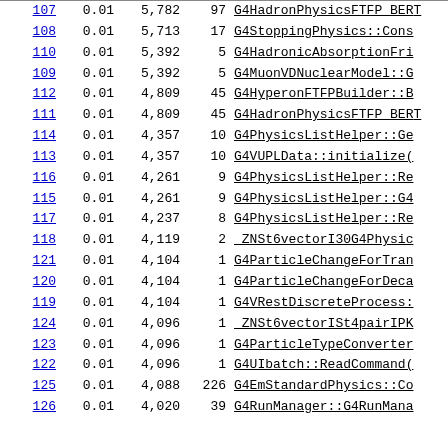| ID | % | Bytes | Calls | Function |
| --- | --- | --- | --- | --- |
| 107 | 0.01 | 5,782 | 97 | G4HadronPhysicsFTFP_BERT... |
| 108 | 0.01 | 5,713 | 17 | G4StoppingPhysics::Cons... |
| 110 | 0.01 | 5,392 | 5 | G4HadronicAbsorptionFri... |
| 109 | 0.01 | 5,392 | 5 | G4MuonVDNuclearModel::G... |
| 112 | 0.01 | 4,809 | 45 | G4HyperonFTFPBuilder::B... |
| 111 | 0.01 | 4,809 | 45 | G4HadronPhysicsFTFP_BER... |
| 114 | 0.01 | 4,357 | 10 | G4PhysicsListHelper::Ge... |
| 113 | 0.01 | 4,357 | 10 | G4VUPLData::initialize(... |
| 116 | 0.01 | 4,261 | 9 | G4PhysicsListHelper::Re... |
| 115 | 0.01 | 4,261 | 9 | G4PhysicsListHelper::G4... |
| 117 | 0.01 | 4,237 | 8 | G4PhysicsListHelper::Re... |
| 118 | 0.01 | 4,119 | 2 | _ZNSt6vectorI30G4Physic... |
| 121 | 0.01 | 4,104 | 1 | G4ParticleChangeForTran... |
| 120 | 0.01 | 4,104 | 1 | G4ParticleChangeForDeca... |
| 119 | 0.01 | 4,104 | 1 | G4VRestDiscreteProcess:... |
| 124 | 0.01 | 4,096 | 1 | _ZNSt6vectorISt4pairIPK... |
| 123 | 0.01 | 4,096 | 1 | G4ParticleTypeConverter... |
| 122 | 0.01 | 4,096 | 1 | G4UIbatch::ReadCommand(... |
| 125 | 0.01 | 4,088 | 226 | G4EmStandardPhysics::Co... |
| 126 | 0.01 | 4,020 | 39 | G4RunManager::G4RunMana... |